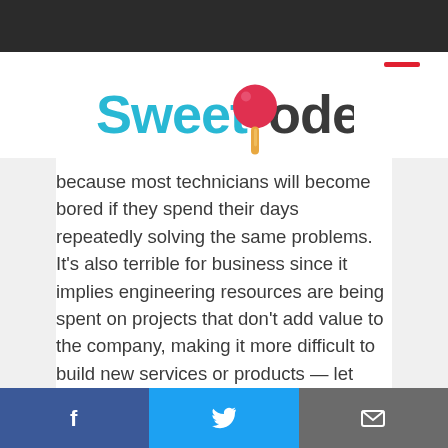[Figure (logo): Sweetcode logo — 'Sweet' in cyan/teal bold font, 'c' replaced with a red lollipop candy icon, 'ode' in dark gray bold font, with a lollipop stick below the candy]
because most technicians will become bored if they spend their days repeatedly solving the same problems. It's also terrible for business since it implies engineering resources are being spent on projects that don't add value to the company, making it more difficult to build new services or products — let alone innovate.

Automating incident response also means addressing response is
[Facebook icon] [Twitter icon] [Email icon]